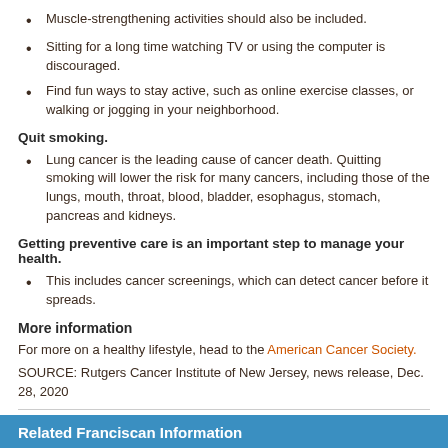Muscle-strengthening activities should also be included.
Sitting for a long time watching TV or using the computer is discouraged.
Find fun ways to stay active, such as online exercise classes, or walking or jogging in your neighborhood.
Quit smoking.
Lung cancer is the leading cause of cancer death. Quitting smoking will lower the risk for many cancers, including those of the lungs, mouth, throat, blood, bladder, esophagus, stomach, pancreas and kidneys.
Getting preventive care is an important step to manage your health.
This includes cancer screenings, which can detect cancer before it spreads.
More information
For more on a healthy lifestyle, head to the American Cancer Society.
SOURCE: Rutgers Cancer Institute of New Jersey, news release, Dec. 28, 2020
Copyright ©2022 HealthDay. All rights reserved.
Related Franciscan Information